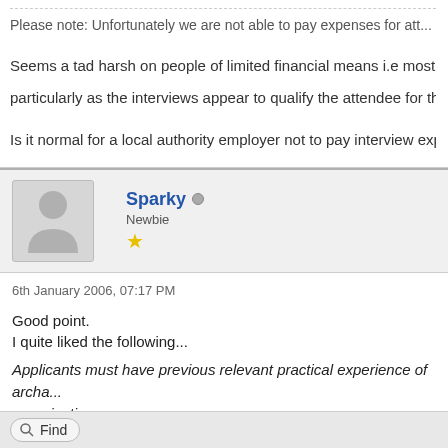Please note: Unfortunately we are not able to pay expenses for att...
Seems a tad harsh on people of limited financial means i.e most arch... particularly as the interviews appear to qualify the attendee for the 'po...
Is it normal for a local authority employer not to pay interview expens...
Sparky (Newbie, 1 star)
6th January 2006, 07:17 PM
Good point.
I quite liked the following...

Applicants must have previous relevant practical experience of archa... organisations.

I Wonder who they mean...?